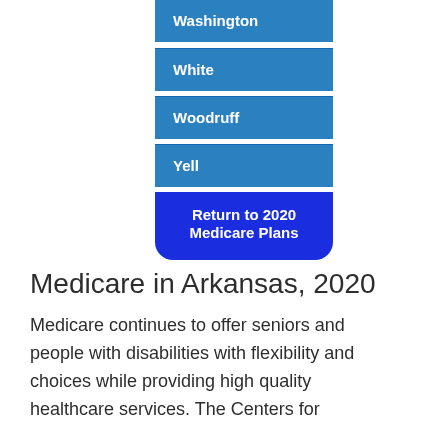Washington
White
Woodruff
Yell
Return to 2020 Medicare Plans
Medicare in Arkansas, 2020
Medicare continues to offer seniors and people with disabilities with flexibility and choices while providing high quality healthcare services. The Centers for